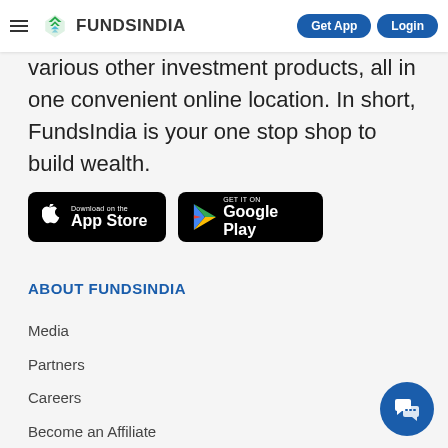FundsIndia | Get App | Login
various other investment products, all in one convenient online location. In short, FundsIndia is your one stop shop to build wealth.
[Figure (other): Download on the App Store badge (black, rounded rectangle)]
[Figure (other): Get it on Google Play badge (black, rounded rectangle)]
ABOUT FUNDSINDIA
Media
Partners
Careers
Become an Affiliate
FAQs
Reach us